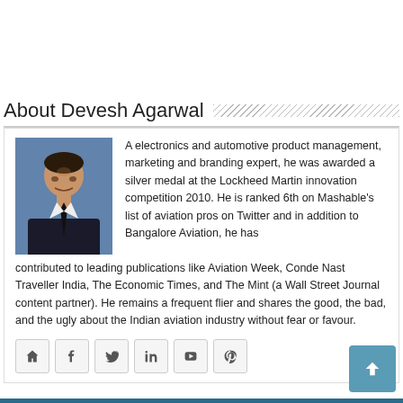About Devesh Agarwal
[Figure (photo): Headshot photo of Devesh Agarwal, a man in a dark suit against a blue background]
A electronics and automotive product management, marketing and branding expert, he was awarded a silver medal at the Lockheed Martin innovation competition 2010. He is ranked 6th on Mashable's list of aviation pros on Twitter and in addition to Bangalore Aviation, he has contributed to leading publications like Aviation Week, Conde Nast Traveller India, The Economic Times, and The Mint (a Wall Street Journal content partner). He remains a frequent flier and shares the good, the bad, and the ugly about the Indian aviation industry without fear or favour.
[Figure (other): Row of social media icon buttons: home, facebook, twitter, linkedin, youtube, pinterest]